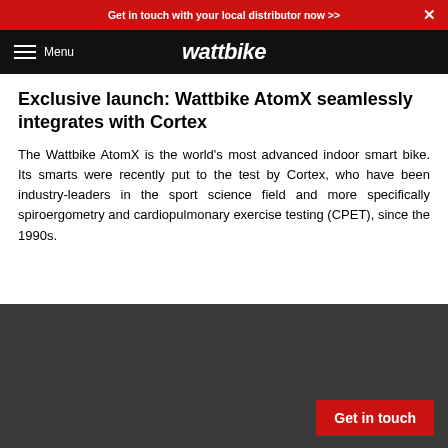Get in touch with your local distributor now >>
wattbike — Menu
Exclusive launch: Wattbike AtomX seamlessly integrates with Cortex
The Wattbike AtomX is the world's most advanced indoor smart bike. Its smarts were recently put to the test by Cortex, who have been industry-leaders in the sport science field and more specifically spiroergometry and cardiopulmonary exercise testing (CPET), since the 1990s.
[Figure (photo): Dark grey/charcoal background panel at the bottom of the page with a red 'Get in touch' button in the lower right corner.]